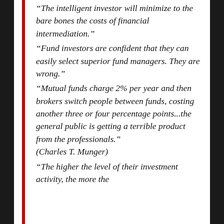“The intelligent investor will minimize to the bare bones the costs of financial intermediation.” “Fund investors are confident that they can easily select superior fund managers. They are wrong.” “Mutual funds charge 2% per year and then brokers switch people between funds, costing another three or four percentage points...the general public is getting a terrible product from the professionals.” (Charles T. Munger) “The higher the level of their investment activity, the more the...